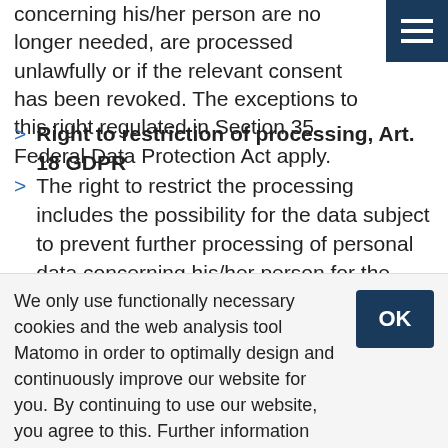concerning his/her person are no longer needed, are processed unlawfully or if the relevant consent has been revoked. The exceptions to this right regulated in Section 35 Federal Data Protection Act apply.
Right to restriction of processing, Art. 18 GDPR
The right to restrict the processing includes the possibility for the data subject to prevent further processing of personal data concerning his/her person for the time being. A restriction particularly occurs pending verification of the exercise of other rights of the data subject.
We only use functionally necessary cookies and the web analysis tool Matomo in order to optimally design and continuously improve our website for you. By continuing to use our website, you agree to this. Further information and an objection possibility can be found here: Data protection